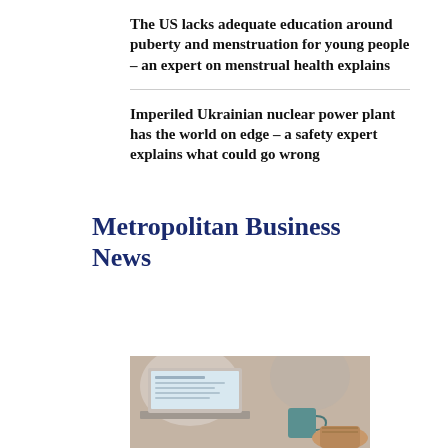The US lacks adequate education around puberty and menstruation for young people – an expert on menstrual health explains
Imperiled Ukrainian nuclear power plant has the world on edge – a safety expert explains what could go wrong
Metropolitan Business News
[Figure (photo): Person working on a laptop with a teal mug nearby, blurred background]